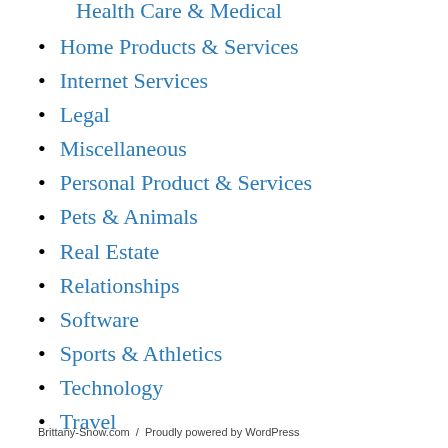Health Care & Medical
Home Products & Services
Internet Services
Legal
Miscellaneous
Personal Product & Services
Pets & Animals
Real Estate
Relationships
Software
Sports & Athletics
Technology
Travel
Web Resources
Brittany-Snow.com / Proudly powered by WordPress